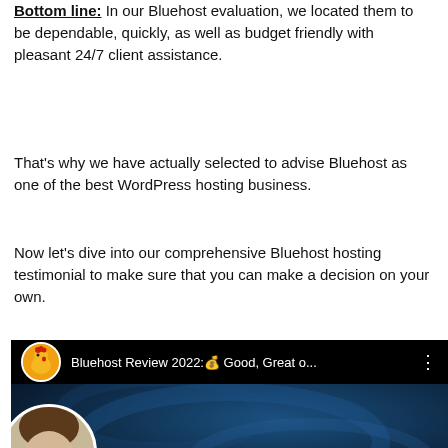Bottom line: In our Bluehost evaluation, we located them to be dependable, quickly, as well as budget friendly with pleasant 24/7 client assistance.
That's why we have actually selected to advise Bluehost as one of the best WordPress hosting business.
Now let's dive into our comprehensive Bluehost hosting testimonial to make sure that you can make a decision on your own.
[Figure (screenshot): YouTube video thumbnail titled 'Bluehost Review 2022: Good, Great o...' with a chicken logo channel icon, a person's face, and the Bluehost logo in the lower portion on a dark blue background.]